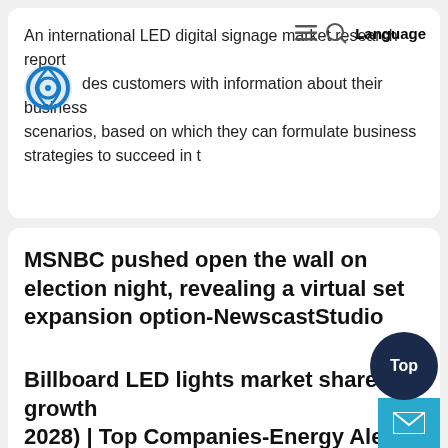An international LED digital signage market research report provides customers with information about their business scenarios, based on which they can formulate business strategies to succeed in t
MSNBC pushed open the wall on election night, revealing a virtual set expansion option-NewscastStudio
Fox Weather debuts from the "Dome" in a unique way on the WX map
Fox Weather promises to "surprise you" with its new app
"Evening News" gets OTS template update
'Fox & Friends
Billboard LED lights market share and growth 2028) | Top Companies-Energy Alert